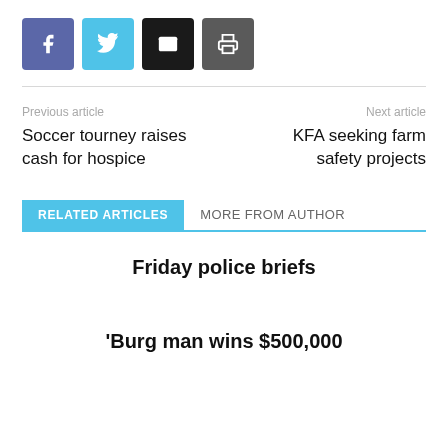[Figure (other): Row of four social sharing buttons: Facebook (blue/purple), Twitter (light blue), Email (black), Print (dark gray)]
Previous article
Soccer tourney raises cash for hospice
Next article
KFA seeking farm safety projects
RELATED ARTICLES
MORE FROM AUTHOR
Friday police briefs
‘Burg man wins $500,000